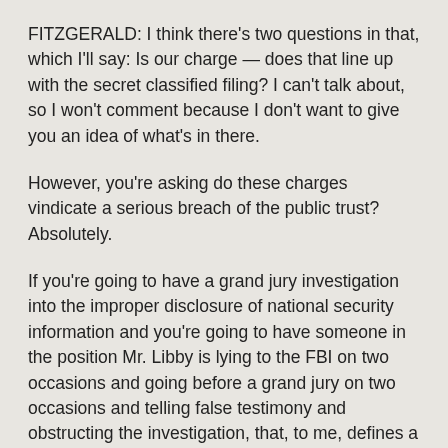FITZGERALD: I think there's two questions in that, which I'll say: Is our charge — does that line up with the secret classified filing? I can't talk about, so I won't comment because I don't want to give you an idea of what's in there.
However, you're asking do these charges vindicate a serious breach of the public trust? Absolutely.
If you're going to have a grand jury investigation into the improper disclosure of national security information and you're going to have someone in the position Mr. Libby is lying to the FBI on two occasions and going before a grand jury on two occasions and telling false testimony and obstructing the investigation, that, to me, defines a serious breach of the public trust.